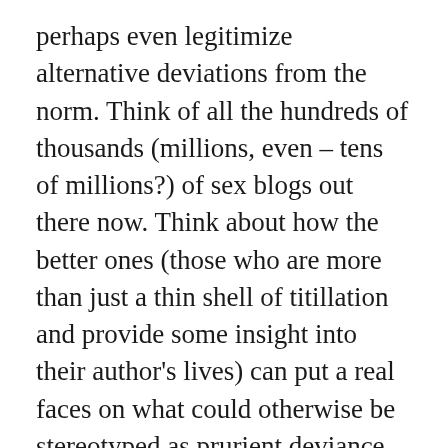perhaps even legitimize alternative deviations from the norm. Think of all the hundreds of thousands (millions, even – tens of millions?) of sex blogs out there now. Think about how the better ones (those who are more than just a thin shell of titillation and provide some insight into their author's lives) can put a real faces on what could otherwise be stereotyped as prurient deviance. One of the tweeters in the session audience went to far as to say all this helps advance revolution. I'm not sure I'm personally interested in revolution (at least, not yet), but I get his point.